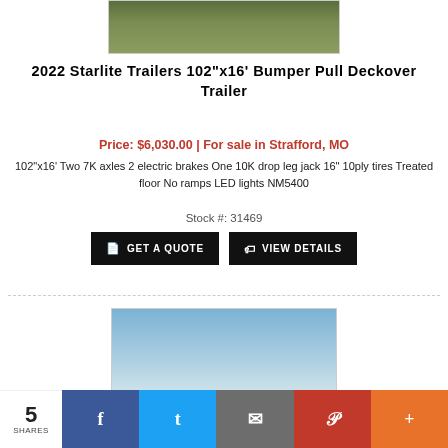[Figure (photo): Top portion of a trailer on grass, partially visible]
2022 Starlite Trailers 102"x16' Bumper Pull Deckover Trailer
Price: $6,030.00 | For sale in Strafford, MO
102"x16' Two 7K axles 2 electric brakes One 10K drop leg jack 16" 10ply tires Treated floor No ramps LED lights NM5400
Stock #: 31469
GET A QUOTE
VIEW DETAILS
[Figure (photo): Blue sky with white clouds]
5 SHARES | Facebook | Twitter | Email | Pinterest | More